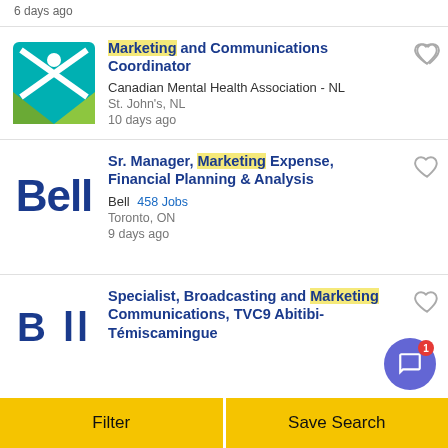6 days ago
Marketing and Communications Coordinator — Canadian Mental Health Association - NL, St. John's, NL, 10 days ago
Sr. Manager, Marketing Expense, Financial Planning & Analysis — Bell, 458 Jobs, Toronto, ON, 9 days ago
Specialist, Broadcasting and Marketing Communications, TVC9 Abitibi-Témiscamingue